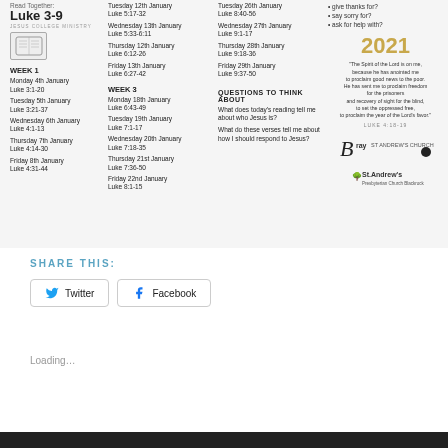Read Together: Luke 3-9
WEEK 1
Monday 4th January
Luke 3:1-20
Tuesday 5th January
Luke 3:21-37
Wednesday 6th January
Luke 4:1-13
Thursday 7th January
Luke 4:14-30
Friday 8th January
Luke 4:31-44
WEEK 2 (implied)
Tuesday 12th January
Luke 5:17-32
Wednesday 13th January
Luke 5:33-6:11
Thursday 12th January
Luke 6:12-26
Friday 13th January
Luke 6:27-42
WEEK 3
Monday 18th January
Luke 6:43-49
Tuesday 19th January
Luke 7:1-17
Wednesday 20th January
Luke 7:18-35
Thursday 21st January
Luke 7:36-50
Friday 22nd January
Luke 8:1-15
Tuesday 26th January
Luke 8:40-56
Wednesday 27th January
Luke 9:1-17
Thursday 28th January
Luke 9:18-36
Friday 29th January
Luke 9:37-50
QUESTIONS TO THINK ABOUT
What does today's reading tell me about who Jesus is?
What do these verses tell me about how I should respond to Jesus?
2021
"The Spirit of the Lord is on me, because he has anointed me to proclaim good news to the poor. He has sent me to proclaim freedom for the prisoners and recovery of sight for the blind, to set the oppressed free, to proclaim the year of the Lord's favor."
LUKE 4:18-19
[Figure (logo): Bray St Andrew's Church logo with stylized B and church text]
[Figure (logo): St. Andrew's Presbyterian Church Blackrock logo with tree icon]
SHARE THIS:
Twitter
Facebook
Loading...